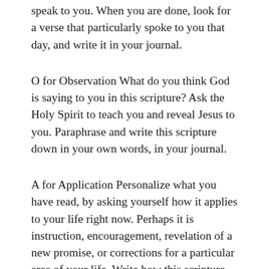speak to you. When you are done, look for a verse that particularly spoke to you that day, and write it in your journal.
O for Observation What do you think God is saying to you in this scripture? Ask the Holy Spirit to teach you and reveal Jesus to you. Paraphrase and write this scripture down in your own words, in your journal.
A for Application Personalize what you have read, by asking yourself how it applies to your life right now. Perhaps it is instruction, encouragement, revelation of a new promise, or corrections for a particular area of your life. Write how this scripture can apply to you today,